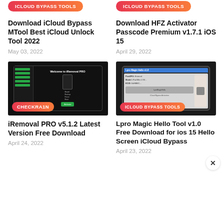[Figure (screenshot): iCloud Bypass Tools badge (red-orange gradient) at top of left card]
Download iCloud Bypass MTool Best iCloud Unlock Tool 2022
May 03, 2022
[Figure (screenshot): iCloud Bypass Tools badge (red-orange gradient) at top of right card with dark blue background]
Download HFZ Activator Passcode Premium v1.7.1 iOS 15
April 29, 2022
[Figure (screenshot): Screenshot of iRemoval PRO software interface with Welcome to iRemoval PRO text and CHECKRA1N badge]
iRemoval PRO v5.1.2 Latest Version Free Download
April 24, 2022
[Figure (screenshot): Screenshot of Lpro Magic Hello tool interface with ICLOUD BYPASS TOOLS badge]
Lpro Magic Hello Tool v1.0 Free Download for ios 15 Hello Screen iCloud Bypass
April 23, 2022